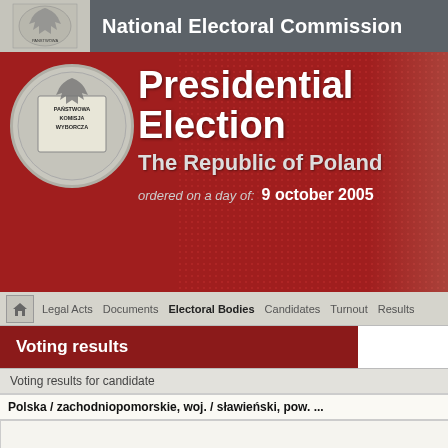National Electoral Commission
Presidential Election
The Republic of Poland
ordered on a day of: 9 october 2005
Legal Acts   Documents   Electoral Bodies   Candidates   Turnout   Results
Voting results
Voting results for candidate
Polska / zachodniopomorskie, woj. / sławieński, pow. ...
|  | KACZY... Alek... |
| --- | --- |
| Number of valid votes: |  |
| Number of votes per candidate: |  |
| % of votes per candidate: |  |